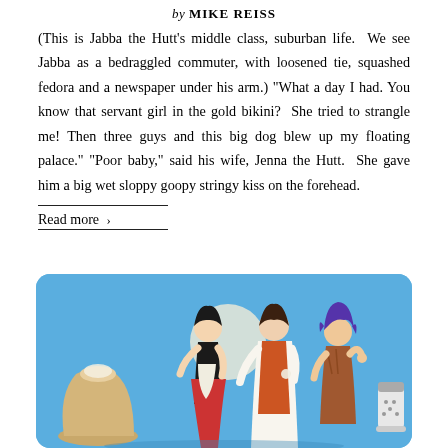by MIKE REISS
(This is Jabba the Hutt’s middle class, suburban life. We see Jabba as a bedraggled commuter, with loosened tie, squashed fedora and a newspaper under his arm.) “What a day I had. You know that servant girl in the gold bikini? She tried to strangle me! Then three guys and this big dog blew up my floating palace.” “Poor baby,” said his wife, Jenna the Hutt. She gave him a big wet sloppy goopy stringy kiss on the forehead.
Read more ›
[Figure (illustration): Illustration on blue background showing three women in historical/prehistoric costumes standing together, with a bag of something on the left and a salt shaker on the right.]